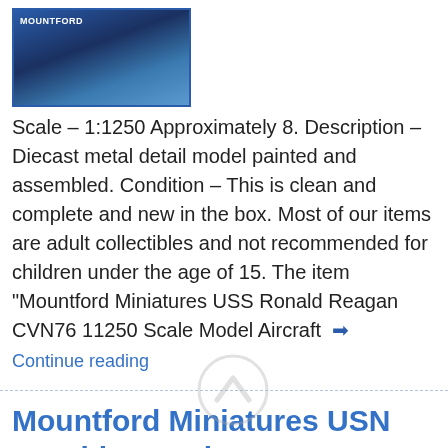[Figure (photo): Product box image of Mountford Miniatures ship model, dark blue background with ship illustration]
Scale – 1:1250 Approximately 8. Description – Diecast metal detail model painted and assembled. Condition – This is clean and complete and new in the box. Most of our items are adult collectibles and not recommended for children under the age of 15. The item "Mountford Miniatures USS Ronald Reagan CVN76 11250 Scale Model Aircraft →
Continue reading
Mountford Miniatures USN Gerald R Ford CVN78 11250 Scale Model Aircraft Carrier
June 28, 2020
[Figure (photo): Product box image for Mountford Miniatures USN Gerald R Ford CVN78 model, blue tones]